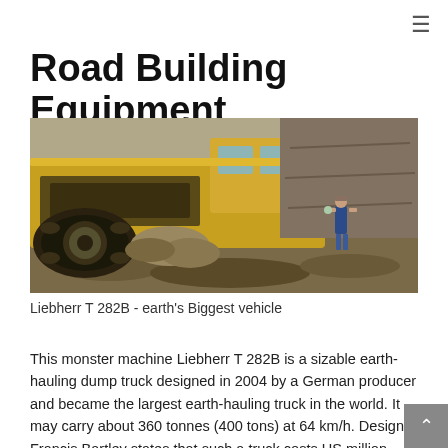≡
Road Building Equipment
[Figure (photo): Close-up photo of a large yellow Liebherr bulldozer/dump truck with massive tracks, with a person standing nearby for scale, on a construction/mining site]
Liebherr T 282B - earth's Biggest vehicle
This monster machine Liebherr T 282B is a sizable earth-hauling dump truck designed in 2004 by a German producer and became the largest earth-hauling truck in the world. It may carry about 360 tonnes (400 tons) at 64 km/h. Designer Francis Bartley states that such a truck costs US million which the global market for these trucks does not go beyond 75 products per year. He adds this is an unconventional vehicle. It